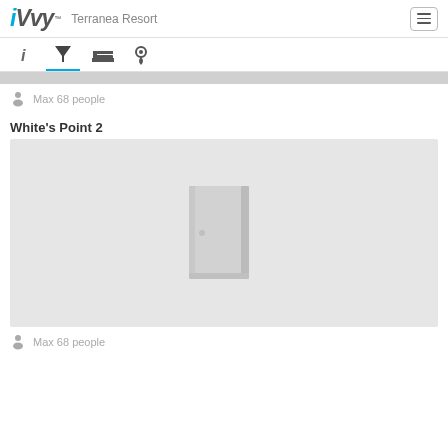iVvy - Terranea Resort
Max 68 people
White's Point 2
[Figure (photo): Placeholder image for venue with door icon on gray background]
Max 68 people